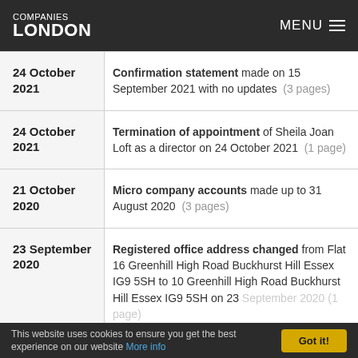COMPANIES LONDON | MENU
24 October 2021 — Confirmation statement made on 15 September 2021 with no updates (3 pages)
24 October 2021 — Termination of appointment of Sheila Joan Loft as a director on 24 October 2021 (1 page)
21 October 2020 — Micro company accounts made up to 31 August 2020 (3 pages)
23 September 2020 — Registered office address changed from Flat 16 Greenhill High Road Buckhurst Hill Essex IG9 5SH to 10 Greenhill High Road Buckhurst Hill Essex IG9 5SH on 23 September 2020 (1 page)
This website uses cookies to ensure you get the best experience on our website More info  Got it!